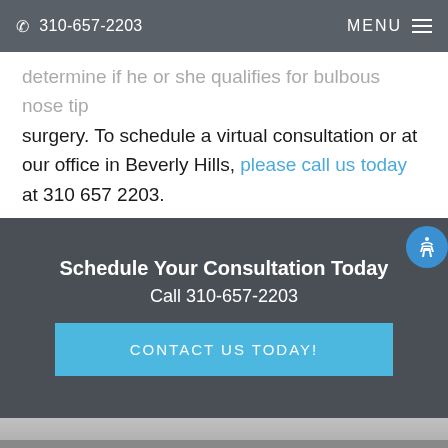310-657-2203  MENU
…determine if he or she qualifies for bulbous nose tip surgery. To schedule a virtual consultation or at our office in Beverly Hills, please call us today at 310 657 2203.
Schedule Your Consultation Today
Call 310-657-2203
CONTACT US TODAY!